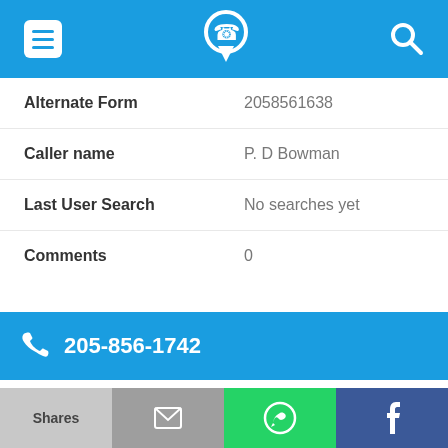Phone lookup app header with menu, phone/location icon, and search icon
| Field | Value |
| --- | --- |
| Alternate Form | 2058561638 |
| Caller name | P. D Bowman |
| Last User Search | No searches yet |
| Comments | 0 |
205-856-1742
| Field | Value |
| --- | --- |
| Alternate Form | 2058561742 |
| Caller name | Dee Atchison |
Shares | [email icon] | [WhatsApp icon] | [Facebook icon]